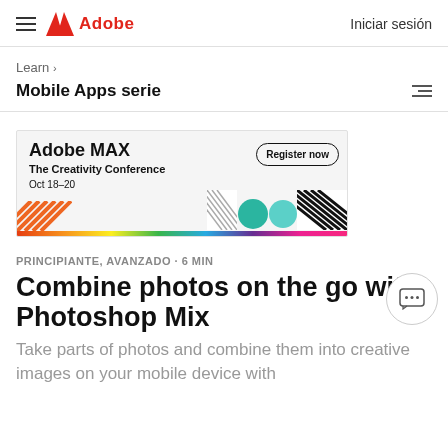Adobe — Iniciar sesión
Learn >
Mobile Apps serie
[Figure (screenshot): Adobe MAX – The Creativity Conference banner ad. Text: 'Adobe MAX The Creativity Conference Oct 18–20' with a 'Register now' button and colorful graphic elements.]
PRINCIPIANTE, AVANZADO · 6 MIN
Combine photos on the go with Photoshop Mix
Take parts of photos and combine them into creative images on your mobile device with